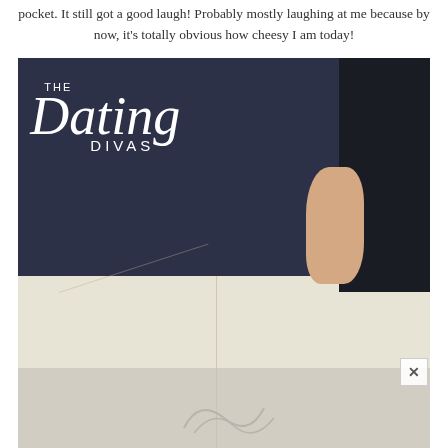pocket. It still got a good laugh! Probably mostly laughing at me because by now, it's totally obvious how cheesy I am today!
[Figure (photo): Photo of a person wearing a navy blue 'The Dating Divas' t-shirt with white script logo, paired with cream/off-white pants. The hand is visible pulling at the shirt hem. The bottom of the image is partially cut off showing what appears to be a cursive script or logo at the very bottom.]